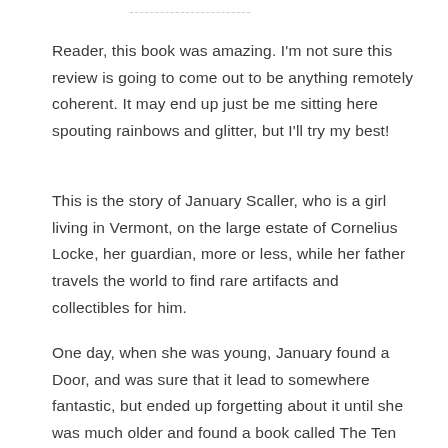Reader, this book was amazing. I'm not sure this review is going to come out to be anything remotely coherent. It may end up just be me sitting here spouting rainbows and glitter, but I'll try my best!
This is the story of January Scaller, who is a girl living in Vermont, on the large estate of Cornelius Locke, her guardian, more or less, while her father travels the world to find rare artifacts and collectibles for him.
One day, when she was young, January found a Door, and was sure that it lead to somewhere fantastic, but ended up forgetting about it until she was much older and found a book called The Ten Thousand Doors which tells her that Doors